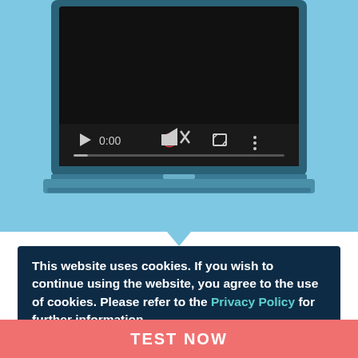[Figure (screenshot): Illustration of a laptop showing a video player interface with play button, 0:00 timestamp, mute icon, fullscreen icon, and more options icon on a dark screen. The laptop is displayed against a light blue background with a speech bubble triangle pointing downward.]
This website uses cookies. If you wish to continue using the website, you agree to the use of cookies. Please refer to the Privacy Policy for further information.
TEST NOW